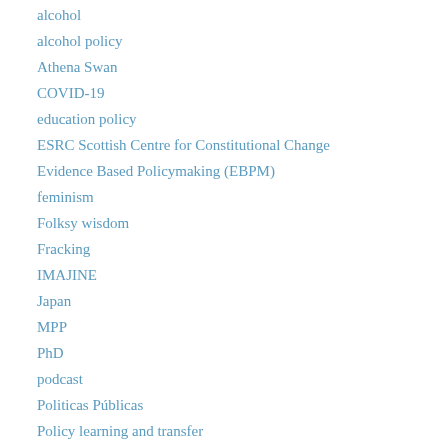alcohol
alcohol policy
Athena Swan
COVID-19
education policy
ESRC Scottish Centre for Constitutional Change
Evidence Based Policymaking (EBPM)
feminism
Folksy wisdom
Fracking
IMAJINE
Japan
MPP
PhD
podcast
Politicas Públicas
Policy learning and transfer
POLU9SP
POLU9UK
Prevention policy
Psychology Based Policy Studies